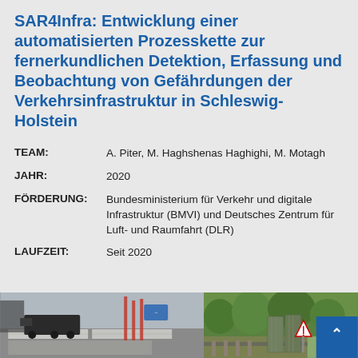SAR4Infra: Entwicklung einer automatisierten Prozesskette zur fernerkundlichen Detektion, Erfassung und Beobachtung von Gefährdungen der Verkehrsinfrastruktur in Schleswig-Holstein
| TEAM: | A. Piter, M. Haghshenas Haghighi, M. Motagh |
| JAHR: | 2020 |
| FÖRDERUNG: | Bundesministerium für Verkehr und digitale Infrastruktur (BMVI) und Deutsches Zentrum für Luft- und Raumfahrt (DLR) |
| LAUFZEIT: | Seit 2020 |
[Figure (photo): Two photos: left shows a highway construction site with concrete slabs and heavy vehicle; right shows a railway infrastructure site with green vegetation and metal panels.]